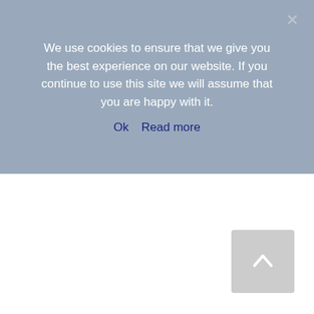We use cookies to ensure that we give you the best experience on our website. If you continue to use this site we will assume that you are happy with it.
Ok   Read more
[Figure (other): Scroll to top button with upward chevron arrow, grey rounded rectangle]